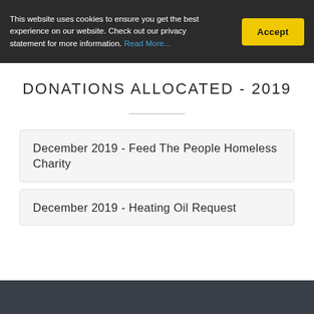This website uses cookies to ensure you get the best experience on our website. Check out our privacy statement for more information. Read More...
DONATIONS ALLOCATED - 2019
December 2019 - Feed The People Homeless Charity
December 2019 - Heating Oil Request